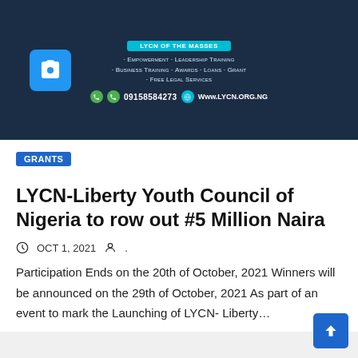[Figure (photo): LYCN banner with dark background showing services: Empowerment, Leadership Training, Business Training, Awards, Loans, Grant, Free Legal Services. Contact: 09158584273, Www.LYCN.ORG.NG. Camera icon placeholder on left.]
GRANTS
LYCN-Liberty Youth Council of Nigeria to row out #5 Million Naira
OCT 1, 2021
Participation Ends on the 20th of October, 2021 Winners will be announced on the 29th of October, 2021 As part of an event to mark the Launching of LYCN- Liberty…